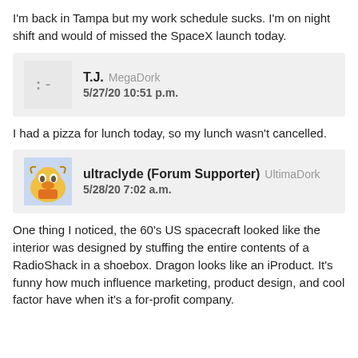I'm back in Tampa but my work schedule sucks. I'm on night shift and would of missed the SpaceX launch today.
T.J. MegaDork 5/27/20 10:51 p.m.
I had a pizza for lunch today, so my lunch wasn't cancelled.
ultraclyde (Forum Supporter) UltimaDork 5/28/20 7:02 a.m.
One thing I noticed, the 60's US spacecraft looked like the interior was designed by stuffing the entire contents of a RadioShack in a shoebox. Dragon looks like an iProduct. It's funny how much influence marketing, product design, and cool factor have when it's a for-profit company.